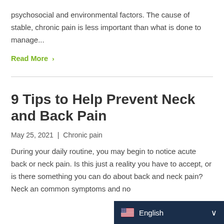psychosocial and environmental factors. The cause of stable, chronic pain is less important than what is done to manage...
Read More >
9 Tips to Help Prevent Neck and Back Pain
May 25, 2021 | Chronic pain
During your daily routine, you may begin to notice acute back or neck pain. Is this just a reality you have to accept, or is there something you can do about back and neck pain?Neck an... common symptoms and no...
English